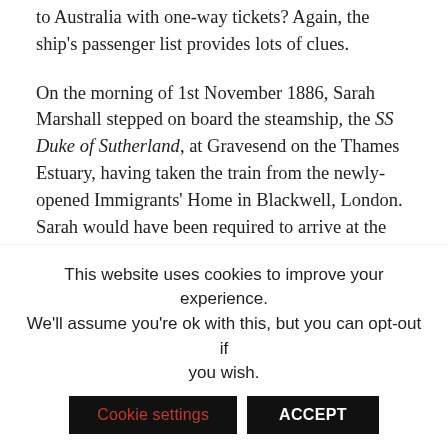to Australia with one-way tickets? Again, the ship's passenger list provides lots of clues.
On the morning of 1st November 1886, Sarah Marshall stepped on board the steamship, the SS Duke of Sutherland, at Gravesend on the Thames Estuary, having taken the train from the newly-opened Immigrants' Home in Blackwell, London. Sarah would have been required to arrive at the Home, which was basically a lodging house run along the same lines as a ship, two or three days prior to embarkation, in order to be issued with her kit for the journey, have her luggage inspected, and to undergo further rigorous checks regarding her suitability.
This website uses cookies to improve your experience. We'll assume you're ok with this, but you can opt-out if you wish. Cookie settings ACCEPT